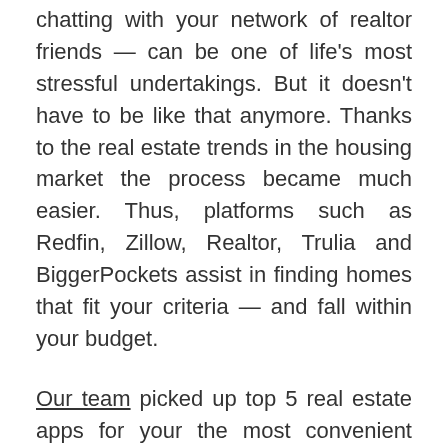chatting with your network of realtor friends — can be one of life's most stressful undertakings. But it doesn't have to be like that anymore. Thanks to the real estate trends in the housing market the process became much easier. Thus, platforms such as Redfin, Zillow, Realtor, Trulia and BiggerPockets assist in finding homes that fit your criteria — and fall within your budget.
Our team picked up top 5 real estate apps for your the most convenient proper searching experience. The apps are free of charge and allow you both as a client and as a real estate agent to benefit a lot of using them on the daily basis.